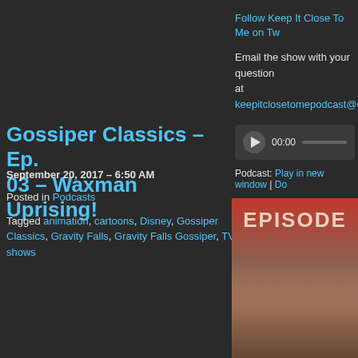Follow Keep It Close To Me on Tw
Email the show with your question at keepitclosetomepodcast@gma
[Figure (other): Audio player with play button, 00:00 timestamp, and progress bar]
Podcast: Play in new window | Do
Share this:
[Figure (other): Social sharing buttons: Twitter (blue), Facebook (blue), Tumblr (dark), Pinterest (red)]
Gossiper Classics – Ep. 03 – Waxman Uprising!
September 20, 2017 – 6:50 AM
Posted in Podcasts
Tagged animation, cartoons, Disney, Gossiper Classics, Gravity Falls, Gravity Falls Gossiper, TV shows
[Figure (other): Episode thumbnail with large text EPISODE on a reddish-brown background]